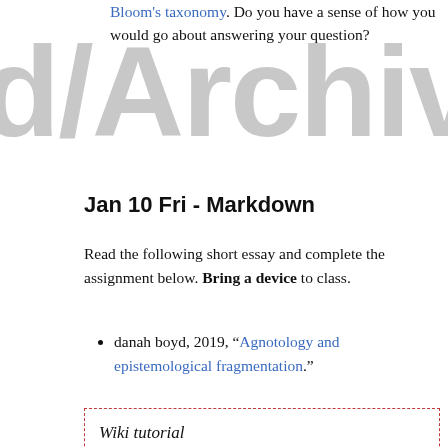Bloom's taxonomy. Do you have a sense of how you would go about answering your question?
Jan 10 Fri - Markdown
Read the following short essay and complete the assignment below. Bring a device to class.
danah boyd, 2019, “Agnotology and epistemological fragmentation.”
Wiki tutorial
A wiki is an easy-to-create website using a lightweight syntax—such as markdown—for specifying images, links, and headings. Markdown is simple text, easy to read and write, supported by